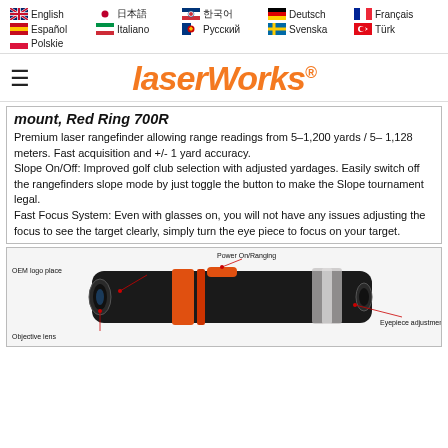Language navigation: English, 日本語, 한국어, Deutsch, Français, Español, Italiano, Русский, Svenska, Türk, Polskie
[Figure (logo): LaserWorks logo in orange italic bold font with registered trademark symbol]
mount, Red Ring 700R
Premium laser rangefinder allowing range readings from 5–1,200 yards / 5– 1,128 meters. Fast acquisition and +/- 1 yard accuracy.
Slope On/Off: Improved golf club selection with adjusted yardages. Easily switch off the rangefinders slope mode by just toggle the button to make the Slope tournament legal.
Fast Focus System: Even with glasses on, you will not have any issues adjusting the focus to see the target clearly, simply turn the eye piece to focus on your target.
[Figure (engineering-diagram): Laser rangefinder device diagram with labeled parts: OEM logo place, Power On/Ranging, Eyepiece adjustment, Objective lens]